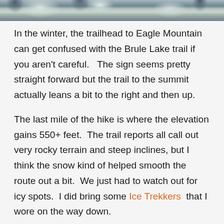[Figure (photo): Partial photo strip at top of page showing snowy winter forest scene with trees]
In the winter, the trailhead to Eagle Mountain can get confused with the Brule Lake trail if you aren't careful.   The sign seems pretty straight forward but the trail to the summit actually leans a bit to the right and then up.
The last mile of the hike is where the elevation gains 550+ feet.  The trail reports all call out very rocky terrain and steep inclines, but I think the snow kind of helped smooth the route out a bit.  We just had to watch out for icy spots.  I did bring some Ice Trekkers  that I wore on the way down.